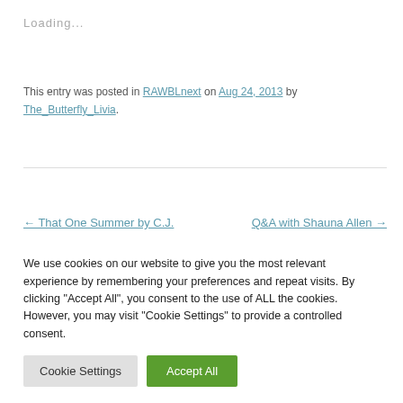Loading...
This entry was posted in RAWBLnext on Aug 24, 2013 by The_Butterfly_Livia.
← That One Summer by C.J.
Q&A with Shauna Allen →
We use cookies on our website to give you the most relevant experience by remembering your preferences and repeat visits. By clicking "Accept All", you consent to the use of ALL the cookies. However, you may visit "Cookie Settings" to provide a controlled consent.